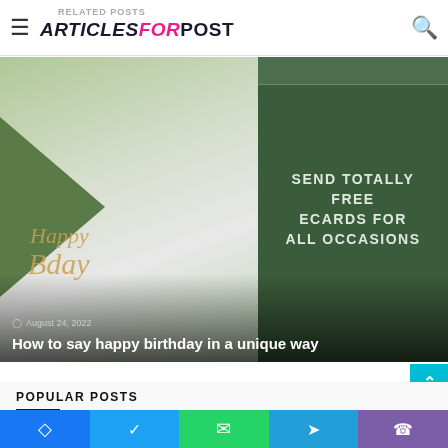ARTICLES FOR POST
[Figure (photo): Featured article image showing a happy birthday card with flowers and plants. Right side shows dark green panel with text 'SEND TOTALLY FREE ECARDS FOR ALL OCCASIONS'. Date shown: August 24, 2022. Title: How to say happy birthday in a unique way]
POPULAR POSTS
[Figure (photo): Thumbnail image strip at bottom showing a dark outdoor scene]
Social share buttons: Facebook, Twitter, WhatsApp, Telegram, Phone